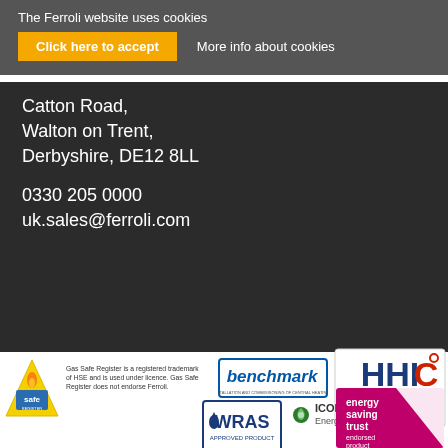The Ferroli website uses cookies
Click here to accept
More info about cookies
Catton Road,
Walton on Trent,
Derbyshire, DE12 8LL
0330 205 0000
uk.sales@ferroli.com
[Figure (logo): Gas Safe Register logo - yellow triangle with 'safe' text and 'REGISTER' beneath]
Gas Safe Register is a registered trademark of HSE and is used under licence. Gas Safe Register does not endorse Ferroli.
[Figure (logo): Benchmark logo - blue rectangle with 'benchmark' text in italic]
[Figure (logo): HHIC - Heating & Hotwater Industry Council logo with red and blue letters]
[Figure (logo): WRAS Approved Product logo - blue and white badge]
[Figure (logo): ICOM Energy Association logo - green circular icon with text]
[Figure (logo): Energy Saving Trust endorsed product logo - pink/magenta square with white triangle]